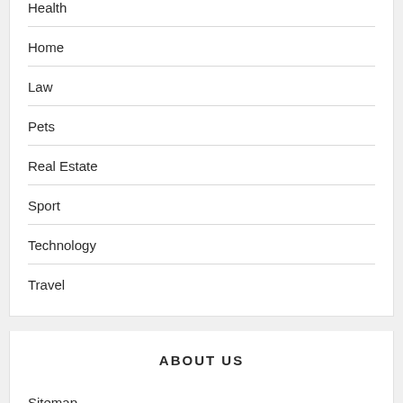Health
Home
Law
Pets
Real Estate
Sport
Technology
Travel
ABOUT US
Sitemap